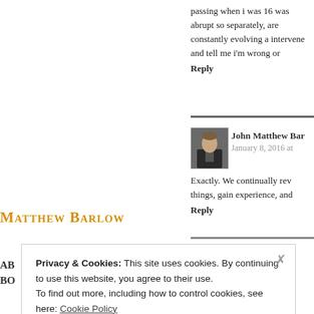passing when i was 16 was abrupt so separately, are constantly evolving a intervene and tell me i'm wrong or
Reply
[Figure (photo): Small avatar photo of John Matthew Barlow, person in dark suit]
John Matthew Bar
January 8, 2016 at
Exactly. We continually rev things, gain experience, and
Reply
Matthew Barlow
AB
BO
Privacy & Cookies: This site uses cookies. By continuing to use this website, you agree to their use.
To find out more, including how to control cookies, see here: Cookie Policy
Close and accept